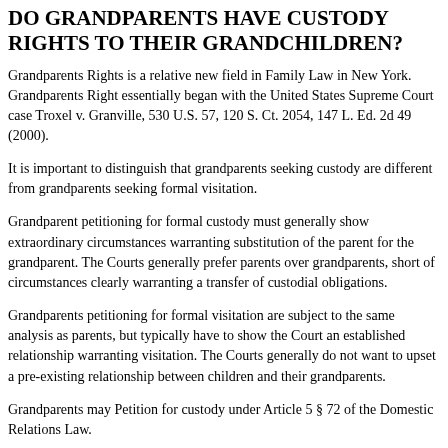DO GRANDPARENTS HAVE CUSTODY RIGHTS TO THEIR GRANDCHILDREN?
Grandparents Rights is a relative new field in Family Law in New York. Grandparents Right essentially began with the United States Supreme Court case Troxel v. Granville, 530 U.S. 57, 120 S. Ct. 2054, 147 L. Ed. 2d 49 (2000).
It is important to distinguish that grandparents seeking custody are different from grandparents seeking formal visitation.
Grandparent petitioning for formal custody must generally show extraordinary circumstances warranting substitution of the parent for the grandparent. The Courts generally prefer parents over grandparents, short of circumstances clearly warranting a transfer of custodial obligations.
Grandparents petitioning for formal visitation are subject to the same analysis as parents, but typically have to show the Court an established relationship warranting visitation. The Courts generally do not want to upset a pre-existing relationship between children and their grandparents.
Grandparents may Petition for custody under Article 5 § 72 of the Domestic Relations Law.
The statutory language of Article 5 § 72 of the New York State Domestic Relations Law allows any grandparent seeking visitation of their grandchildren to file a